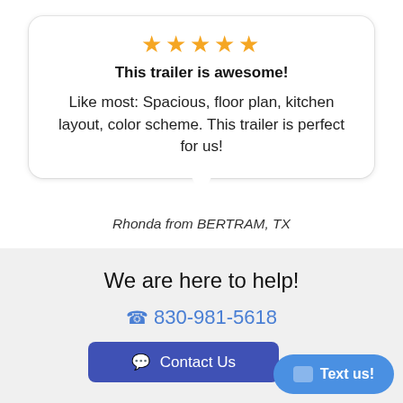★★★★★
This trailer is awesome!
Like most: Spacious, floor plan, kitchen layout, color scheme. This trailer is perfect for us!
Rhonda from BERTRAM, TX
We are here to help!
830-981-5618
Contact Us
Text us!